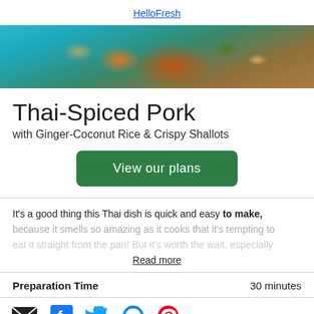[Figure (logo): HelloFresh logo image link]
[Figure (photo): Thai-spiced pork dish in a pan on a teal background, viewed from above]
Thai-Spiced Pork
with Ginger-Coconut Rice & Crispy Shallots
View our plans
It's a good thing this Thai dish is quick and easy to make, because it smells so amazing as it cooks that it's tempting to eat it straight from the pan! But it's worth the wait, especially
Read more
Preparation Time	30 minutes
[Figure (infographic): Social sharing icons: email, Facebook, Twitter, Messenger, Pinterest]